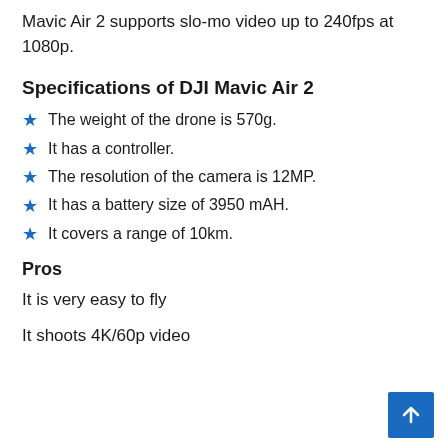Mavic Air 2 supports slo-mo video up to 240fps at 1080p.
Specifications of DJI Mavic Air 2
The weight of the drone is 570g.
It has a controller.
The resolution of the camera is 12MP.
It has a battery size of 3950 mAH.
It covers a range of 10km.
Pros
It is very easy to fly
It shoots 4K/60p video